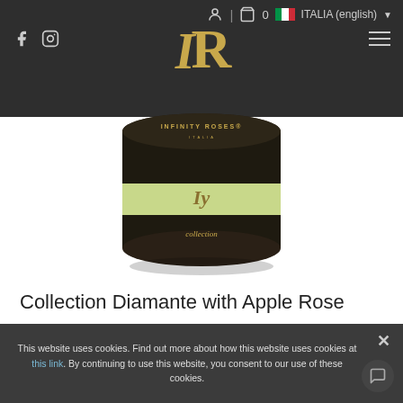ITALIA (english) | user icon | cart 0
[Figure (logo): IR monogram logo in gold italic serif font on dark background]
[Figure (photo): A cylindrical black box with a light green/yellow band around the middle, labeled INFINITY ROSES on top and collection below the band]
Collection Diamante with Apple Rose
This website uses cookies. Find out more about how this website uses cookies at this link. By continuing to use this website, you consent to our use of these cookies.